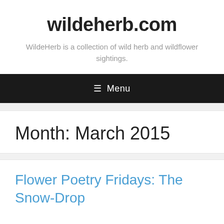wildeherb.com
WildeHerb is a collection of wild herb and wildflower sightings.
☰ Menu
Month: March 2015
Flower Poetry Fridays: The Snow-Drop